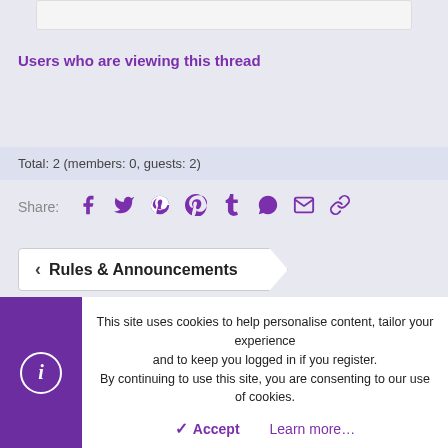Users who are viewing this thread
Total: 2 (members: 0, guests: 2)
Share: [social icons: Facebook, Twitter, Reddit, Pinterest, Tumblr, WhatsApp, Email, Link]
< Rules & Announcements
This site uses cookies to help personalise content, tailor your experience and to keep you logged in if you register. By continuing to use this site, you are consenting to our use of cookies.
Accept  Learn more…